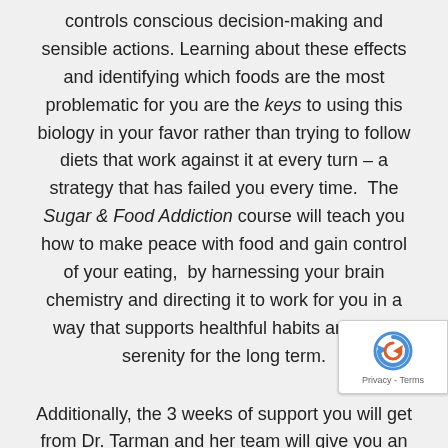controls conscious decision-making and sensible actions. Learning about these effects and identifying which foods are the most problematic for you are the keys to using this biology in your favor rather than trying to follow diets that work against it at every turn – a strategy that has failed you every time.  The Sugar & Food Addiction course will teach you how to make peace with food and gain control of your eating,  by harnessing your brain chemistry and directing it to work for you in a way that supports healthful habits and food serenity for the long term.
Additionally, the 3 weeks of support you will get from Dr. Tarman and her team will give you an invaluable foundation for your recovery.  If you found it impossible to make change in the past because you were doing it alone, this course will provide you with a completely different